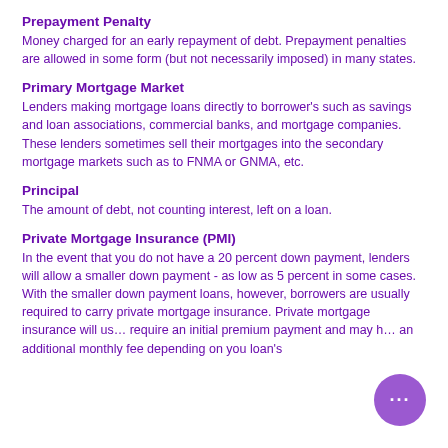Prepayment Penalty
Money charged for an early repayment of debt. Prepayment penalties are allowed in some form (but not necessarily imposed) in many states.
Primary Mortgage Market
Lenders making mortgage loans directly to borrower's such as savings and loan associations, commercial banks, and mortgage companies. These lenders sometimes sell their mortgages into the secondary mortgage markets such as to FNMA or GNMA, etc.
Principal
The amount of debt, not counting interest, left on a loan.
Private Mortgage Insurance (PMI)
In the event that you do not have a 20 percent down payment, lenders will allow a smaller down payment - as low as 5 percent in some cases. With the smaller down payment loans, however, borrowers are usually required to carry private mortgage insurance. Private mortgage insurance will usually require an initial premium payment and may have an additional monthly fee depending on you loan's